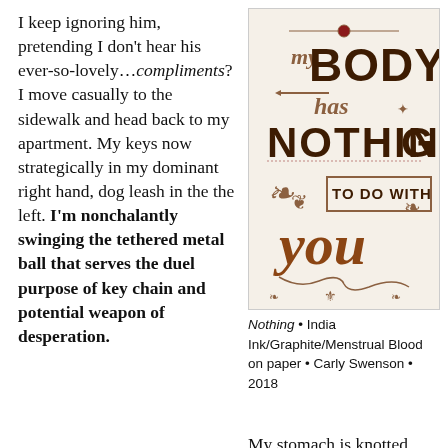I keep ignoring him, pretending I don't hear his ever-so-lovely…compliments? I move casually to the sidewalk and head back to my apartment. My keys now strategically in my dominant right hand, dog leash in the the left. I'm nonchalantly swinging the tethered metal ball that serves the duel purpose of key chain and potential weapon of desperation.
[Figure (illustration): Hand-lettered typographic artwork with decorative calligraphy reading 'my BODY has NOTHING TO DO WITH you' in brown, burgundy and beige tones with ornamental flourishes and decorative elements.]
Nothing • India Ink/Graphite/Menstrual Blood on paper • Carly Swenson • 2018
My stomach is knotted